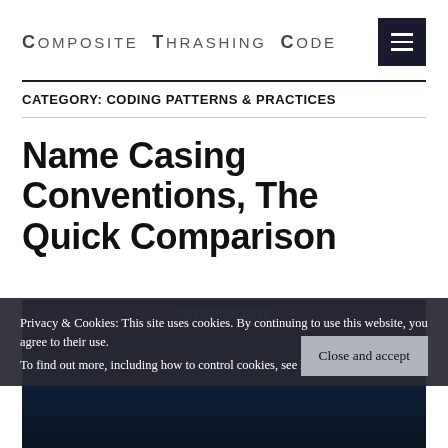Composite Thrashing Code
CATEGORY: CODING PATTERNS & PRACTICES
Name Casing Conventions, The Quick Comparison
[Figure (photo): Dark blue-toned image with binary/code text overlay, showing a computer/coding environment]
Privacy & Cookies: This site uses cookies. By continuing to use this website, you agree to their use.
To find out more, including how to control cookies, see here: Our Cookie Policy
Close and accept